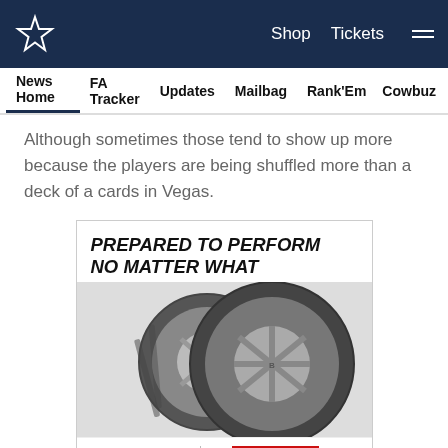Dallas Cowboys navigation header with logo, Shop, Tickets, and menu icon
News Home | FA Tracker | Updates | Mailbag | Rank'Em | Cowbuz
Although sometimes those tend to show up more because the players are being shuffled more than a deck of a cards in Vegas.
[Figure (photo): Bridgestone advertisement: 'PREPARED TO PERFORM NO MATTER WHAT' with two tires shown, Bridgestone logo, Cowboys star logo, and SHOP TIRES red button]
Social share icons: Facebook, Twitter, Email, Link